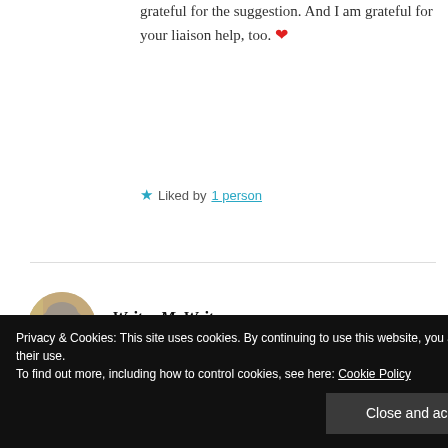grateful for the suggestion. And I am grateful for your liaison help, too. ❤
★ Liked by 1 person
Writer McWriterson
OCTOBER 8, 2020 AT 4:58 PM
Privacy & Cookies: This site uses cookies. By continuing to use this website, you agree to their use. To find out more, including how to control cookies, see here: Cookie Policy
Close and accept